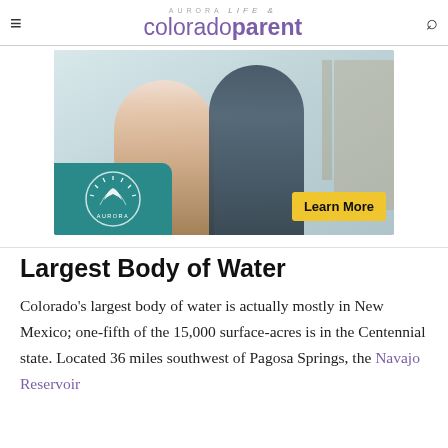colorado parent
[Figure (photo): Aurora city advertisement showing two people sitting and chatting, with teal Aurora logo badge on lower left and yellow 'Learn More' button on lower right]
Largest Body of Water
Colorado's largest body of water is actually mostly in New Mexico; one-fifth of the 15,000 surface-acres is in the Centennial state. Located 36 miles southwest of Pagosa Springs, the Navajo Reservoir